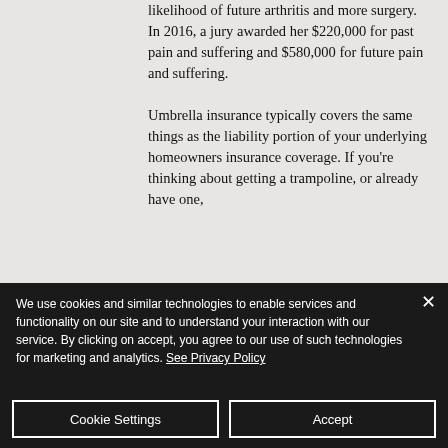likelihood of future arthritis and more surgery. In 2016, a jury awarded her $220,000 for past pain and suffering and $580,000 for future pain and suffering. Umbrella insurance typically covers the same things as the liability portion of your underlying homeowners insurance coverage. If you're thinking about getting a trampoline, or already have one,
We use cookies and similar technologies to enable services and functionality on our site and to understand your interaction with our service. By clicking on accept, you agree to our use of such technologies for marketing and analytics. See Privacy Policy
Cookie Settings
Accept